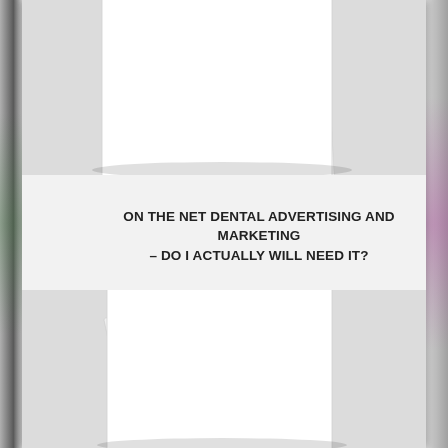[Figure (illustration): Stacked white paper pages illustration in top portion of page]
ON THE NET DENTAL ADVERTISING AND MARKETING – DO I ACTUALLY WILL NEED IT?
[Figure (illustration): Stacked white paper pages illustration in bottom portion of page]